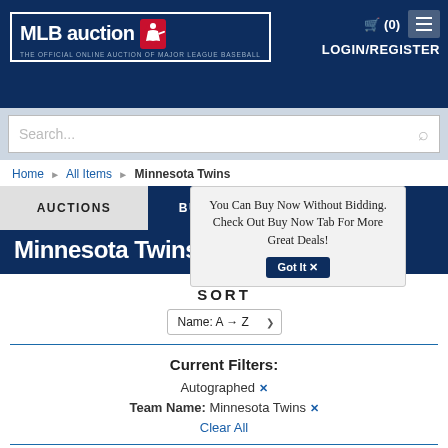MLB auction - THE OFFICIAL ONLINE AUCTION OF MAJOR LEAGUE BASEBALL | (0) LOGIN/REGISTER
Search...
Home > All Items > Minnesota Twins
AUCTIONS | BUY NOW
Minnesota Twins
You Can Buy Now Without Bidding. Check Out Buy Now Tab For More Great Deals! Got It ✕
SORT
Name: A → Z
Current Filters:
Autographed ✕
Team Name: Minnesota Twins ✕
Clear All